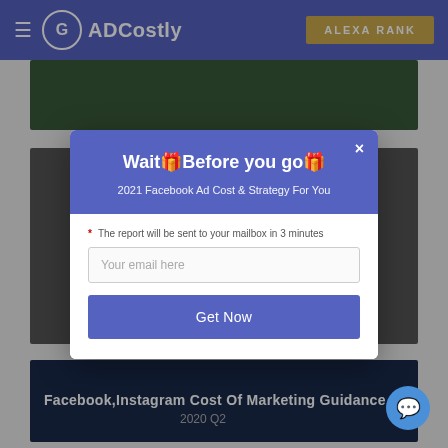ADCostly | ALEXA RANK
[Figure (screenshot): Background website content showing marketing-related images and article thumbnails]
Wait🎁Before you go🎁
2021 Facebook Ad Cost & Strategy For You
* The report will be sent to your mailbox in 3 minutes
Your email here
Get Now
Fa... s
Facebook,Instagram Cost Of Marketing Guidance
2020 Q2